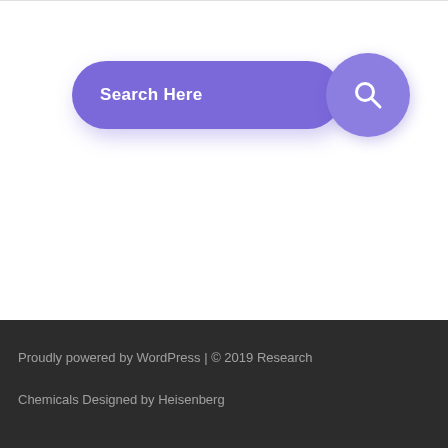[Figure (other): A purple rounded search bar with the placeholder text 'Search Here' and a circular purple search icon button on the right]
Proudly powered by WordPress | © 2019 Research Chemicals Designed by Heisenberg